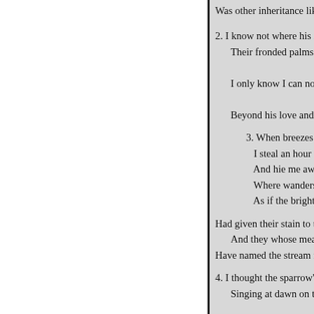Was other inheritance like unto t

2. I know not where his islands l
    Their fronded palms in air;
    I only know I can not drift
    Beyond his love and care.—W

        3. When breezes are soft an
            I steal an hour from study
            And hie me away to the w
            Where wanders the stream
            As if the bright fringe of h

Had given their stain to the wave
    And they whose meadows it m
Have named the stream from its

4. I thought the sparrow's note fr
    Singing at dawn on the alder b
    I brought him home, in his nes
    He sings the song, but it chee